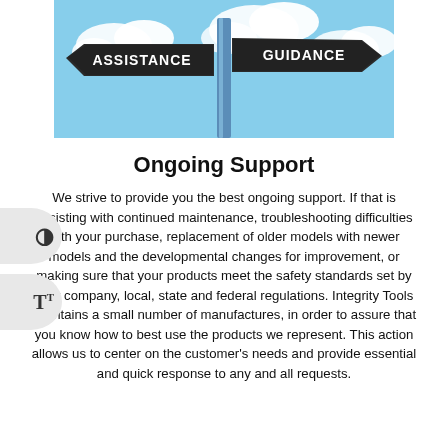[Figure (photo): Photo of street sign post with two arrow signs reading 'ASSISTANCE' (pointing left) and 'GUIDANCE' (pointing right) against a blue cloudy sky]
Ongoing Support
We strive to provide you the best ongoing support. If that is assisting with continued maintenance, troubleshooting difficulties with your purchase, replacement of older models with newer models and the developmental changes for improvement, or making sure that your products meet the safety standards set by your company, local, state and federal regulations. Integrity Tools maintains a small number of manufactures, in order to assure that you know how to best use the products we represent. This action allows us to center on the customer's needs and provide essential and quick response to any and all requests.